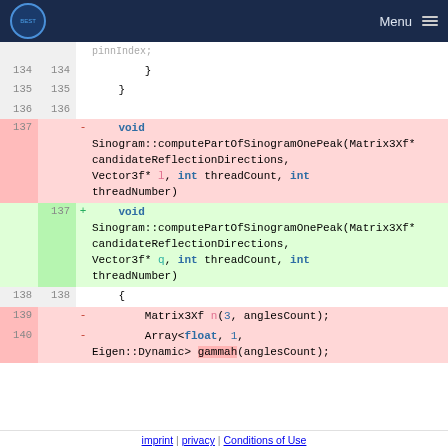BEST Menu
Code diff showing lines 134-140 with function signature change from parameter 'l' to 'q'
imprint | privacy | Conditions of Use